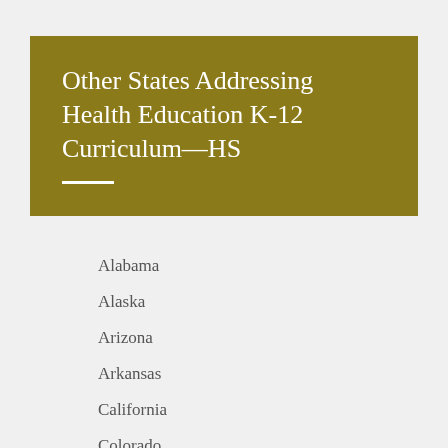Other States Addressing Health Education K-12 Curriculum—HS
Alabama
Alaska
Arizona
Arkansas
California
Colorado